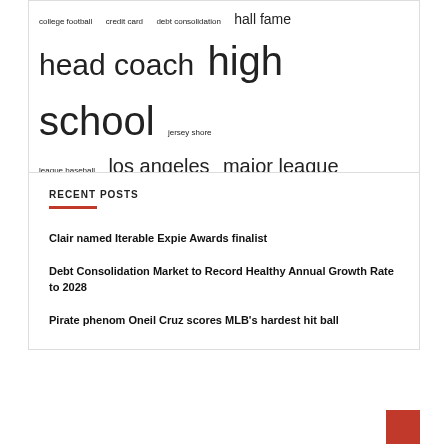[Figure (other): Word cloud containing terms: college football, credit card, debt consolidation, hall fame, head coach, high school, jersey shore, league baseball, los angeles, major league, regular season, start season, united states, world series, yards touchdowns]
RECENT POSTS
Clair named Iterable Expie Awards finalist
Debt Consolidation Market to Record Healthy Annual Growth Rate to 2028
Pirate phenom Oneil Cruz scores MLB's hardest hit ball